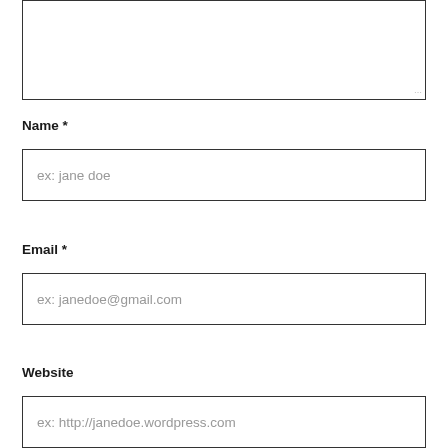[Figure (other): Text area input box (partially visible, top of page), empty with resize handle at bottom right]
Name *
[Figure (other): Text input field with placeholder text 'ex: jane doe']
Email *
[Figure (other): Text input field with placeholder text 'ex: janedoe@gmail.com']
Website
[Figure (other): Text input field with placeholder text 'ex: http://janedoe.wordpress.com']